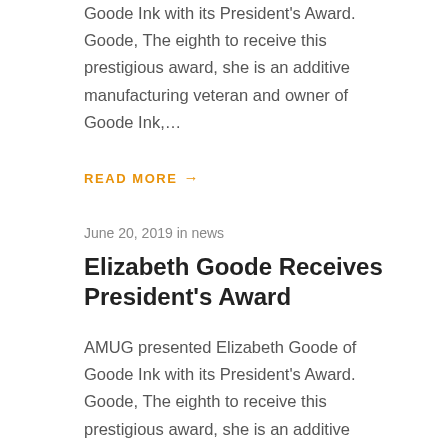Goode Ink with its President’s Award. Goode, The eighth to receive this prestigious award, she is an additive manufacturing veteran and owner of Goode Ink,…
READ MORE →
June 20, 2019 in news
Elizabeth Goode Receives President’s Award
AMUG presented Elizabeth Goode of Goode Ink with its President’s Award. Goode, The eighth to receive this prestigious award, she is an additive manufacturing veteran and owner of Goode Ink,…